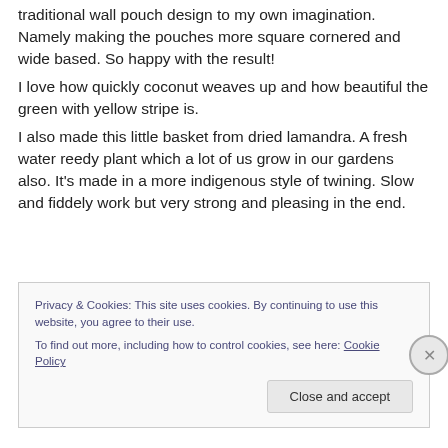traditional wall pouch design to my own imagination. Namely making the pouches more square cornered and wide based. So happy with the result!
I love how quickly coconut weaves up and how beautiful the green with yellow stripe is.
I also made this little basket from dried lamandra. A fresh water reedy plant which a lot of us grow in our gardens also. It's made in a more indigenous style of twining. Slow and fiddely work but very strong and pleasing in the end.
Privacy & Cookies: This site uses cookies. By continuing to use this website, you agree to their use.
To find out more, including how to control cookies, see here: Cookie Policy
Close and accept